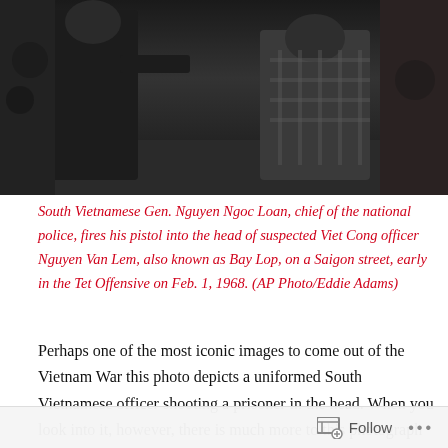[Figure (photo): Black and white photograph showing South Vietnamese Gen. Nguyen Ngoc Loan firing his pistol at a suspected Viet Cong officer on a Saigon street during the Tet Offensive, Feb. 1, 1968. AP Photo by Eddie Adams.]
South Vietnamese Gen. Nguyen Ngoc Loan, chief of the national police, fires his pistol into the head of suspected Viet Cong officer Nguyen Van Lem, also known as Bay Lop, on a Saigon street, early in the Tet Offensive on Feb. 1, 1968. (AP Photo/Eddie Adams)
Perhaps one of the most iconic images to come out of the Vietnam War this photo depicts a uniformed South Vietnamese officer shooting a prisoner in the head. When you look into it, however, there is much more to this photograph than first meets the eye. There is an